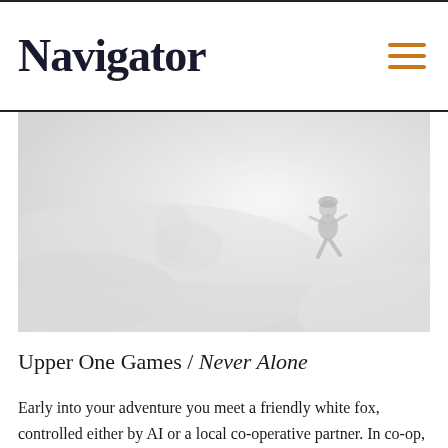Navigator
[Figure (photo): A small character figure (appearing to be a person in winter clothing) running or moving through a foggy, misty white/grey landscape. The image is desaturated and hazy, giving a cold, ethereal feel.]
Upper One Games / Never Alone
Early into your adventure you meet a friendly white fox, controlled either by AI or a local co-operative partner. In co-op, players take turns